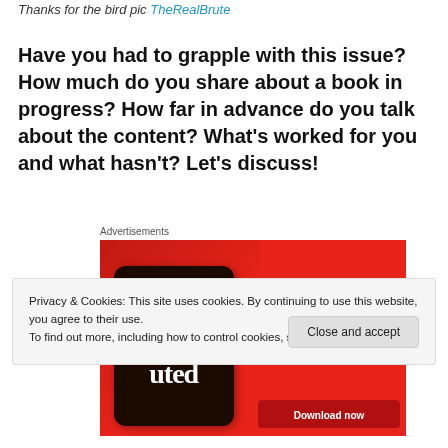Thanks for the bird pic TheRealBrute
Have you had to grapple with this issue? How much do you share about a book in progress? How far in advance do you talk about the content? What's worked for you and what hasn't? Let's discuss!
Advertisements
[Figure (screenshot): Red advertisement banner for 'Distributed' app showing a smartphone with app interface and text: 'An app by listeners, for listeners.' with a Download now button]
Privacy & Cookies: This site uses cookies. By continuing to use this website, you agree to their use. To find out more, including how to control cookies, see here: Cookie Policy
Close and accept